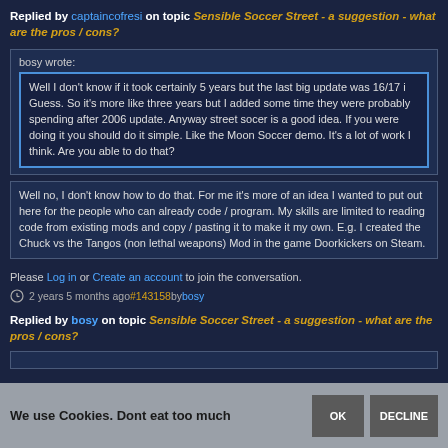Replied by captaincofresi on topic Sensible Soccer Street - a suggestion - what are the pros / cons?
bosy wrote:
Well I don't know if it took certainly 5 years but the last big update was 16/17 i Guess. So it's more like three years but I added some time they were probably spending after 2006 update. Anyway street socer is a good idea. If you were doing it you should do it simple. Like the Moon Soccer demo. It's a lot of work I think. Are you able to do that?
Well no, I don't know how to do that. For me it's more of an idea I wanted to put out here for the people who can already code / program. My skills are limited to reading code from existing mods and copy / pasting it to make it my own. E.g. I created the Chuck vs the Tangos (non lethal weapons) Mod in the game Doorkickers on Steam.
Please Log in or Create an account to join the conversation.
2 years 5 months ago #143158 by bosy
Replied by bosy on topic Sensible Soccer Street - a suggestion - what are the pros / cons?
We use Cookies. Dont eat too much